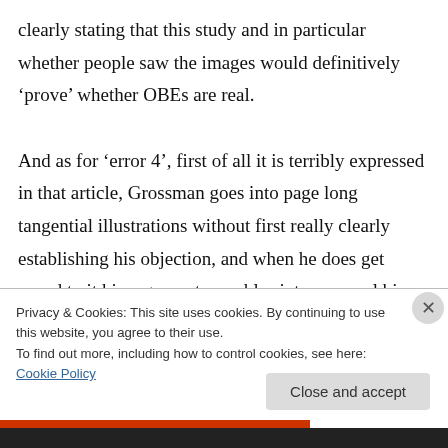clearly stating that this study and in particular whether people saw the images would definitively ‘prove’ whether OBEs are real.

And as for ‘error 4’, first of all it is terribly expressed in that article, Grossman goes into page long tangential illustrations without first really clearly establishing his objection, and when he does get round to it his argument crumbles into personal bias: Alien abductions are just ‘logically possible’ and shouldn’t be
Privacy & Cookies: This site uses cookies. By continuing to use this website, you agree to their use.
To find out more, including how to control cookies, see here: Cookie Policy
Close and accept